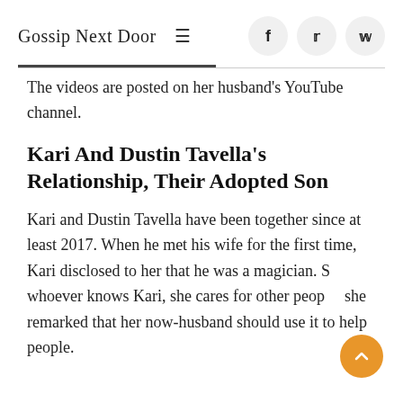Gossip Next Door
The videos are posted on her husband's YouTube channel.
Kari And Dustin Tavella's Relationship, Their Adopted Son
Kari and Dustin Tavella have been together since at least 2017. When he met his wife for the first time, Kari disclosed to her that he was a magician. So whoever knows Kari, she cares for other people, she remarked that her now-husband should use it to help people.